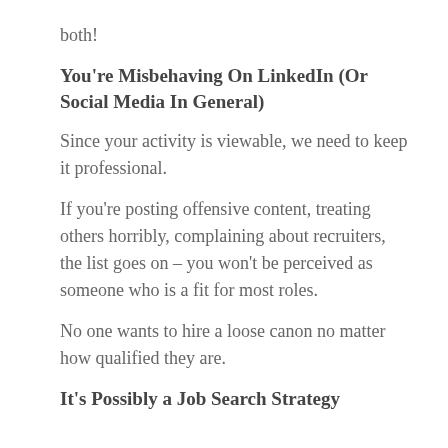both!
You're Misbehaving On LinkedIn (Or Social Media In General)
Since your activity is viewable, we need to keep it professional.
If you're posting offensive content, treating others horribly, complaining about recruiters, the list goes on – you won't be perceived as someone who is a fit for most roles.
No one wants to hire a loose canon no matter how qualified they are.
It's Possibly a Job Search Strategy